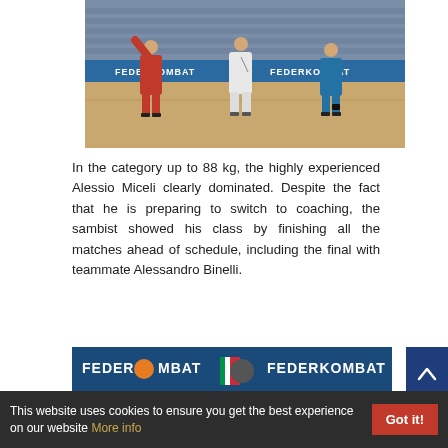[Figure (photo): Three athletes on a sports hall floor — one in red sambo suit with arm raised, one in white referee/coach outfit, one in blue sambo suit. FEDER KOMBAT banner visible in background.]
In the category up to 88 kg, the highly experienced Alessio Miceli clearly dominated. Despite the fact that he is preparing to switch to coaching, the sambist showed his class by finishing all the matches ahead of schedule, including the final with teammate Alessandro Binelli.
[Figure (photo): Partial view of a FEDERKOMBAT banner/backdrop with athlete portraits.]
This website uses cookies to ensure you get the best experience on our website More info  Got it!